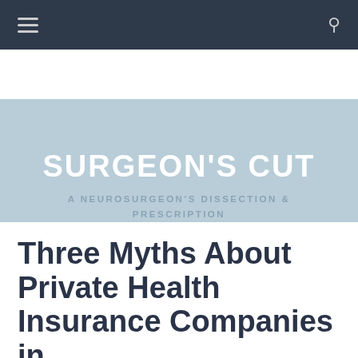Navigation bar with hamburger menu and search icon
SURGEON'S CUT
A NEUROSURGEON'S DISSECTION & PRESCRIPTION
Three Myths About Private Health Insurance Companies in